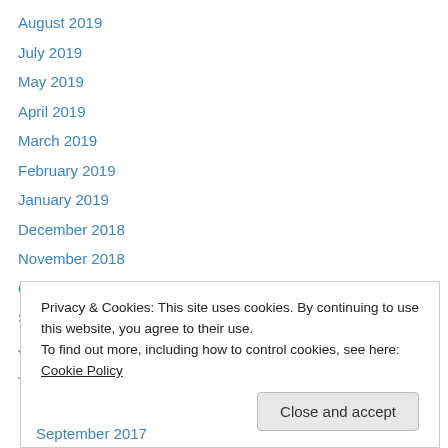August 2019
July 2019
May 2019
April 2019
March 2019
February 2019
January 2019
December 2018
November 2018
October 2018
September 2018
July 2018
Privacy & Cookies: This site uses cookies. By continuing to use this website, you agree to their use.
To find out more, including how to control cookies, see here: Cookie Policy
September 2017